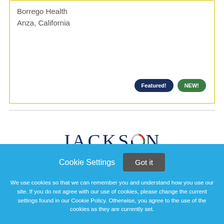Borrego Health
Anza, California
Featured!
NEW!
[Figure (logo): Jackson Physician Search logo with stylized colorful 'O' in the word JACKSON and subtitle 'Physician Search']
Cookie Settings
Got it
We use cookies so that we can remember you and understand how you use our site. If you do not agree with our use of cookies, please change the current settings found in our Cookie Policy. Otherwise, you agree to the use of the cookies as they are currently set.